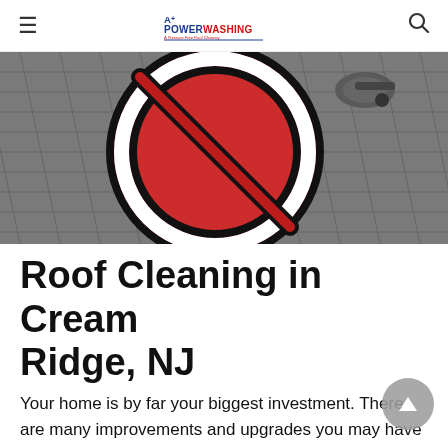A+ Powerwashing & Pressure Free Roof Cleaning
[Figure (photo): Photo of roof shingles with a large red prohibition/no symbol (circle with diagonal line) overlaid, showing a pressure washing nozzle in the background — used to indicate pressure washing should not be done on roofs.]
Roof Cleaning in Cream Ridge, NJ
Your home is by far your biggest investment. There are many improvements and upgrades you may have already done, because it is so important to keep your home